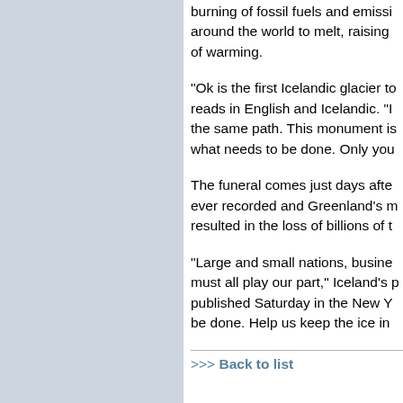burning of fossil fuels and emissions are causing glaciers around the world to melt, raising of warming.
"Ok is the first Icelandic glacier to reads in English and Icelandic. "It the same path. This monument is what needs to be done. Only you
The funeral comes just days after ever recorded and Greenland's m resulted in the loss of billions of t
"Large and small nations, busine must all play our part," Iceland's published Saturday in the New Y be done. Help us keep the ice in
>>> Back to list